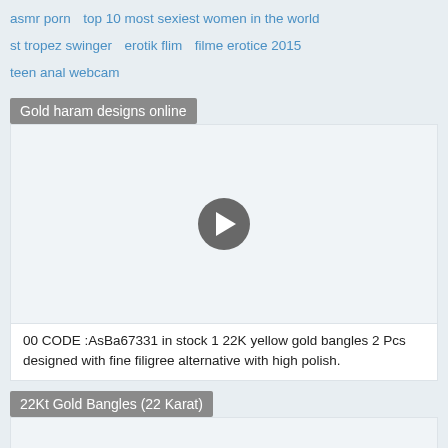asmr porn   top 10 most sexiest women in the world   st tropez swinger   erotik flim   filme erotice 2015   teen anal webcam
Gold haram designs online
[Figure (other): Video player placeholder with play button in center, light blue/grey background]
00 CODE :AsBa67331 in stock 1 22K yellow gold bangles 2 Pcs designed with fine filigree alternative with high polish.
22Kt Gold Bangles (22 Karat)